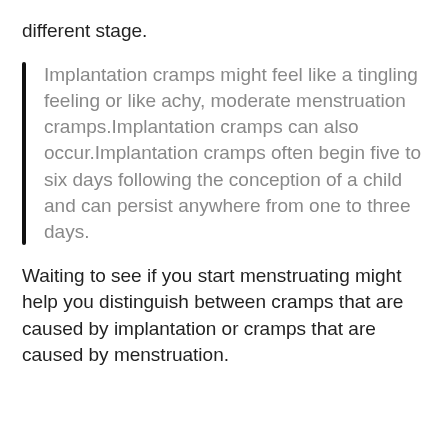different stage.
Implantation cramps might feel like a tingling feeling or like achy, moderate menstruation cramps.Implantation cramps can also occur.Implantation cramps often begin five to six days following the conception of a child and can persist anywhere from one to three days.
Waiting to see if you start menstruating might help you distinguish between cramps that are caused by implantation or cramps that are caused by menstruation.